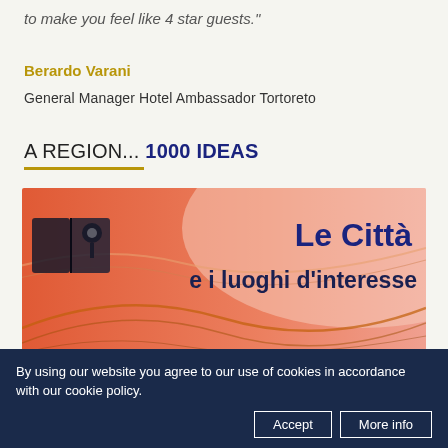to make you feel like 4 star guests."
Berardo Varani
General Manager Hotel Ambassador Tortoreto
A REGION... 1000 IDEAS
[Figure (illustration): Promotional banner with orange/salmon gradient background, decorative wave lines, dark map/book icon on left, and Italian text 'Le Città e i luoghi d'interesse' in dark navy/blue bold font on right.]
By using our website you agree to our use of cookies in accordance with our cookie policy.